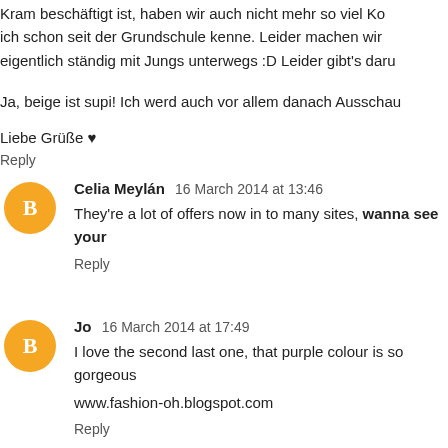Kram beschäftigt ist, haben wir auch nicht mehr so viel Kon ich schon seit der Grundschule kenne. Leider machen wir eigentlich ständig mit Jungs unterwegs :D Leider gibt's daru
Ja, beige ist supi! Ich werd auch vor allem danach Ausschau
Liebe Grüße ♥
Reply
Celia Meylán  16 March 2014 at 13:46
They're a lot of offers now in to many sites, wanna see your
Reply
Jo  16 March 2014 at 17:49
I love the second last one, that purple colour is so gorgeous
www.fashion-oh.blogspot.com
Reply